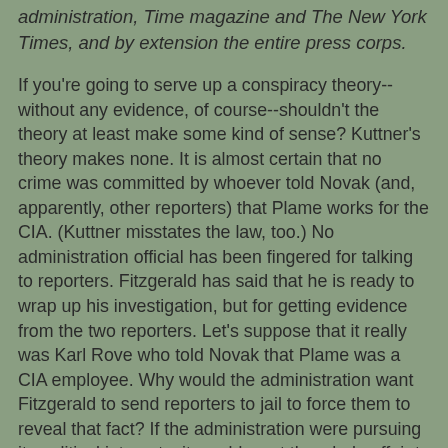administration, Time magazine and The New York Times, and by extension the entire press corps.
If you're going to serve up a conspiracy theory--without any evidence, of course--shouldn't the theory at least make some kind of sense? Kuttner's theory makes none. It is almost certain that no crime was committed by whoever told Novak (and, apparently, other reporters) that Plame works for the CIA. (Kuttner misstates the law, too.) No administration official has been fingered for talking to reporters. Fitzgerald has said that he is ready to wrap up his investigation, but for getting evidence from the two reporters. Let's suppose that it really was Karl Rove who told Novak that Plame was a CIA employee. Why would the administration want Fitzgerald to send reporters to jail to force them to reveal that fact? If the administration were pursuing its political interests, it would want the whole affair to die, and it would side with the reporters who want to